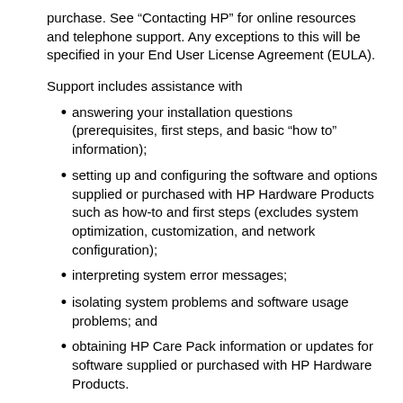purchase. See “Contacting HP” for online resources and telephone support. Any exceptions to this will be specified in your End User License Agreement (EULA).
Support includes assistance with
answering your installation questions (prerequisites, first steps, and basic “how to” information);
setting up and configuring the software and options supplied or purchased with HP Hardware Products such as how-to and first steps (excludes system optimization, customization, and network configuration);
interpreting system error messages;
isolating system problems and software usage problems; and
obtaining HP Care Pack information or updates for software supplied or purchased with HP Hardware Products.